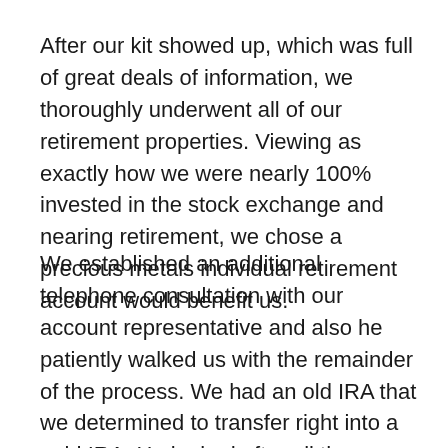After our kit showed up, which was full of great deals of information, we thoroughly underwent all of our retirement properties. Viewing as exactly how we were nearly 100% invested in the stock exchange and nearing retirement, we chose a precious metals individual retirement account would benefit us.
We established an additional telephone consultation with our account representative and also he patiently walked us with the remainder of the process. We had an old IRA that we determined to transfer right into a gold IRA. He looked after all the documents and spoke to the brokerage firm that held our assets.